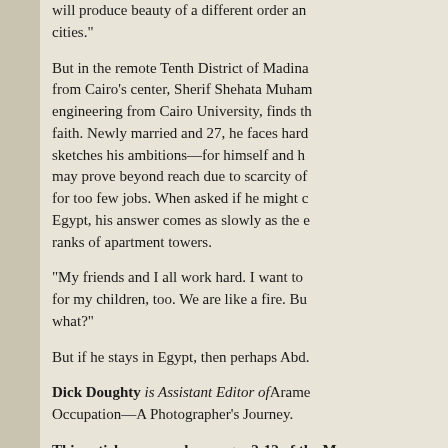will produce beauty of a different order an cities."
But in the remote Tenth District of Madina from Cairo's center, Sherif Shehata Muham engineering from Cairo University, finds th faith. Newly married and 27, he faces hard sketches his ambitions—for himself and h may prove beyond reach due to scarcity of for too few jobs. When asked if he might c Egypt, his answer comes as slowly as the e ranks of apartment towers.
"My friends and I all work hard. I want to for my children, too. We are like a fire. Bu what?"
But if he stays in Egypt, then perhaps Abd.
Dick Doughty is Assistant Editor of Arame Occupation—A Photographer's Journey.
This article appeared on pages 2-12 of the Ma World.
See Also: CITIES – EGYPT – CITIES AND CITY